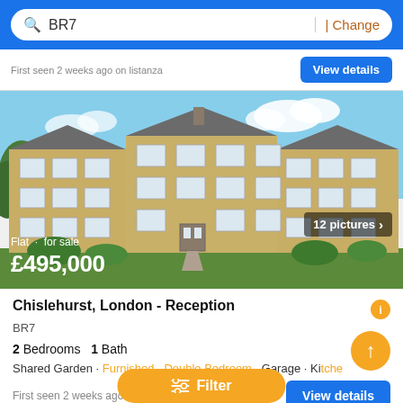BR7 | Change
First seen 2 weeks ago on listanza
[Figure (photo): Exterior photo of a 3-storey yellow brick residential flat building with white-framed windows, green lawn in front, and blue sky with clouds. Overlaid text shows: Flat for sale £495,000. Badge shows 12 pictures.]
Chislehurst, London - Reception
BR7
2 Bedrooms  1 Bath
Shared Garden · Furnished · Double Bedroom · Garage · Ki...
First seen 2 weeks ago on listanza
Filter
View details